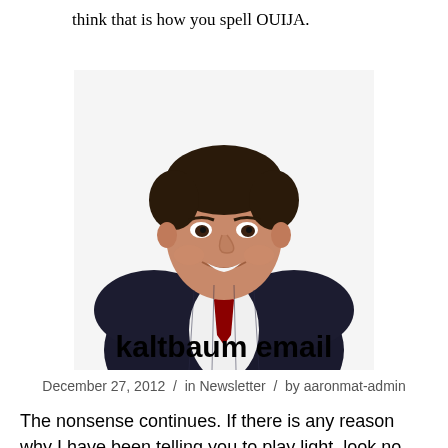think that is how you spell OUIJA.
[Figure (photo): Professional headshot of a middle-aged man in a dark pinstripe suit with a red tie and white shirt, smiling at the camera against a white background.]
kaltbaum email
December 27, 2012 / in Newsletter / by aaronmat-admin
The nonsense continues. If there is any reason why I have been telling you to play light, look no further